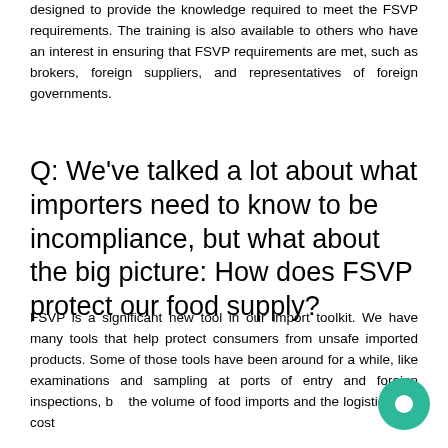designed to provide the knowledge required to meet the FSVP requirements. The training is also available to others who have an interest in ensuring that FSVP requirements are met, such as brokers, foreign suppliers, and representatives of foreign governments.
Q: We've talked a lot about what importers need to know to be incompliance, but what about the big picture: How does FSVP protect our food supply?
FSVP is a significant new tool in our import toolkit. We have many tools that help protect consumers from unsafe imported products. Some of those tools have been around for a while, like examinations and sampling at ports of entry and foreign inspections, but the volume of food imports and the logistics and costs